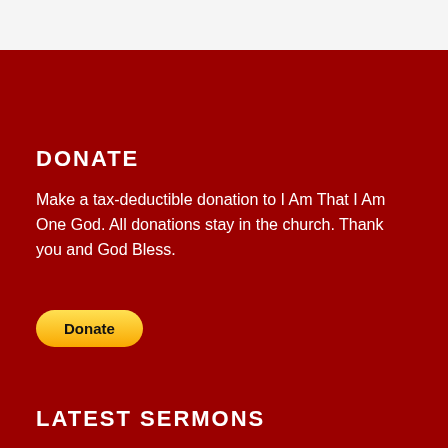DONATE
Make a tax-deductible donation to I Am That I Am One God. All donations stay in the church. Thank you and God Bless.
[Figure (other): Yellow PayPal Donate button with rounded corners]
LATEST SERMONS
And You Shall Receive the Holy Spirit